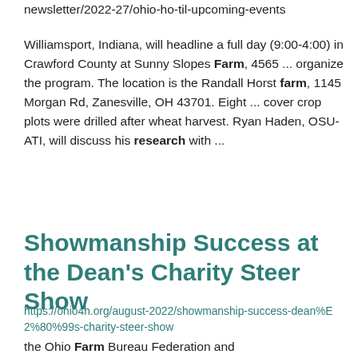newsletter/2022-27/ohio-ho-til-upcoming-events
Williamsport, Indiana, will headline a full day (9:00-4:00) in Crawford County at Sunny Slopes Farm, 4565 ... organize the program. The location is the Randall Horst farm, 1145 Morgan Rd, Zanesville, OH 43701. Eight ... cover crop plots were drilled after wheat harvest. Ryan Haden, OSU-ATI, will discuss his research with ...
Showmanship Success at the Dean's Charity Steer Show
https://ohio4h.org/august-2022/showmanship-success-dean%E2%80%99s-charity-steer-show
the Ohio Farm Bureau Federation and